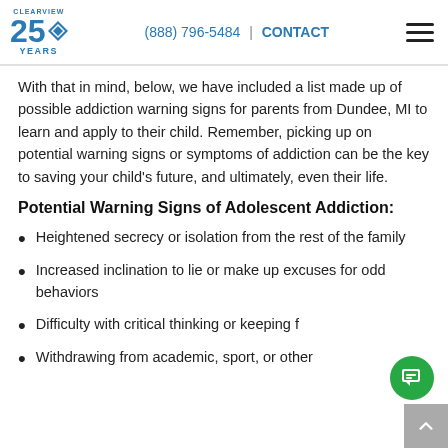CLEARVIEW 25 YEARS | (888) 796-5484 | CONTACT
With that in mind, below, we have included a list made up of possible addiction warning signs for parents from Dundee, MI to learn and apply to their child. Remember, picking up on potential warning signs or symptoms of addiction can be the key to saving your child's future, and ultimately, even their life.
Potential Warning Signs of Adolescent Addiction:
Heightened secrecy or isolation from the rest of the family
Increased inclination to lie or make up excuses for odd behaviors
Difficulty with critical thinking or keeping f…
Withdrawing from academic, sport, or other…